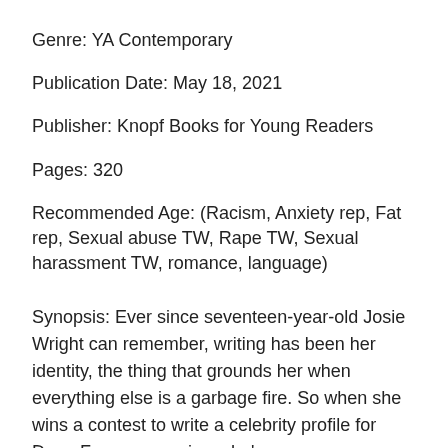Genre: YA Contemporary
Publication Date: May 18, 2021
Publisher: Knopf Books for Young Readers
Pages: 320
Recommended Age: (Racism, Anxiety rep, Fat rep, Sexual abuse TW, Rape TW, Sexual harassment TW, romance, language)
Synopsis: Ever since seventeen-year-old Josie Wright can remember, writing has been her identity, the thing that grounds her when everything else is a garbage fire. So when she wins a contest to write a celebrity profile for Deep Focus magazine, she's